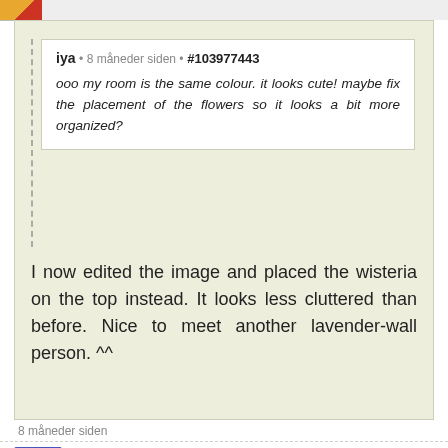[Figure (illustration): Small avatar image in top-left corner, partially visible, showing a cartoon character with orange and red colors]
iya • 8 måneder siden • #103977443
ooo my room is the same colour. it looks cute! maybe fix the placement of the flowers so it looks a bit more organized?
I now edited the image and placed the wisteria on the top instead. It looks less cluttered than before. Nice to meet another lavender-wall person. ^^
8 måneder siden
[Figure (illustration): Avatar of LittlePisces showing a cartoon blue rabbit/bunny character with orange accents]
LittlePisces